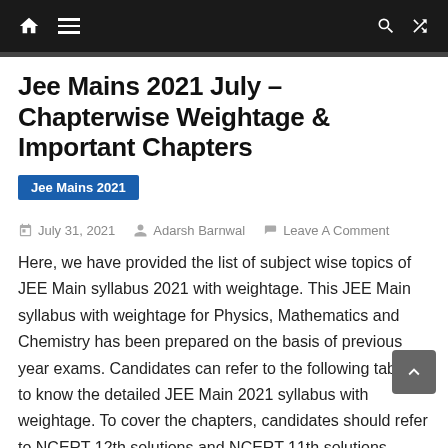Navigation bar with home, menu, search, and shuffle icons
Jee Mains 2021 July – Chapterwise Weightage & Important Chapters
Jee Mains 2021
July 31, 2021   Adarsh Barnwal   Leave A Comment
Here, we have provided the list of subject wise topics of JEE Main syllabus 2021 with weightage. This JEE Main syllabus with weightage for Physics, Mathematics and Chemistry has been prepared on the basis of previous year exams. Candidates can refer to the following tables to know the detailed JEE Main 2021 syllabus with weightage. To cover the chapters, candidates should refer to NCERT 12th solutions and NCERT 11th solutions
While preparing for the JEE Main examination, in which the level of competition is sky-high, candidates would certainly want to know